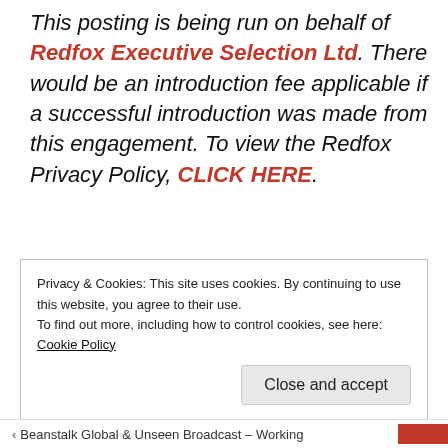This posting is being run on behalf of Redfox Executive Selection Ltd. There would be an introduction fee applicable if a successful introduction was made from this engagement. To view the Redfox Privacy Policy, CLICK HERE.
Privacy & Cookies: This site uses cookies. By continuing to use this website, you agree to their use.
To find out more, including how to control cookies, see here: Cookie Policy
Close and accept
Beanstalk Global & Unseen Broadcast – Working